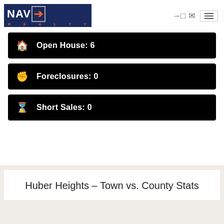[Figure (logo): NAVEX Realty logo — dark blue background with white NAV text and orange X arrow, REALTY in orange letters below]
Open House: 6
Foreclosures: 0
Short Sales: 0
Huber Heights - Town vs. County Stats